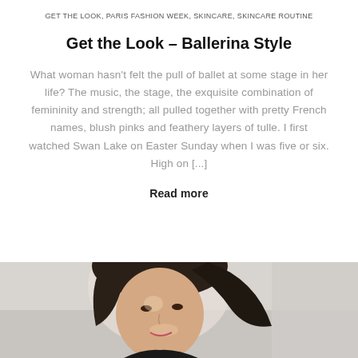GET THE LOOK, PARIS FASHION WEEK, SKINCARE, SKINCARE ROUTINE
Get the Look – Ballerina Style
What woman hasn't felt the pull of ballet at some stage in her life? The music, the stage, the exquisite combination of femininity and strength; all pulled together with pretty French names, blush pinks and feathery layers of tulle. I first watched Swan Lake on Easter Sunday when I was five or six. High on [...]
Read more
[Figure (photo): Portrait photo of a smiling young woman with dark hair against a blurred background]